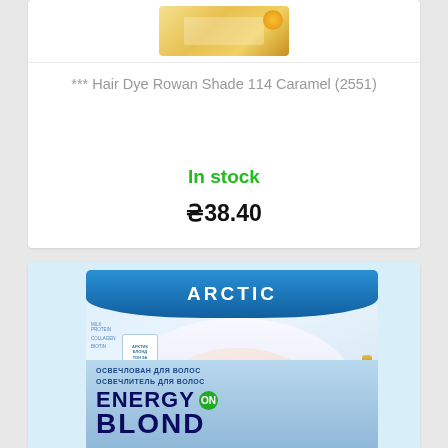[Figure (photo): Product image of Hair Dye Rowan Shade 114 Caramel at top of first product card]
*** Hair Dye Rowan Shade 114 Caramel (2551)
In stock
₴38.40
[Figure (photo): Product box of Arctic Energy Blond hair bleach/lightener showing a blonde woman on packaging with Cyrillic text]